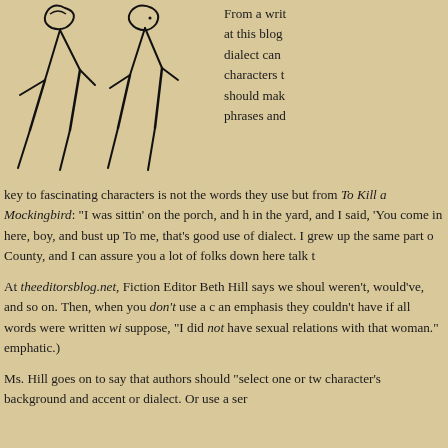[Figure (illustration): Hand-drawn stick figure illustration of two people or characters in a simple sketched style]
From a writ at this blog dialect can characters t should mak phrases and key to fascinating characters is not the words they use but from To Kill a Mockingbird: "I was sittin' on the porch, and h in the yard, and I said, 'You come in here, boy, and bust up To me, that's good use of dialect. I grew up the same part o County, and I can assure you a lot of folks down here talk t
At theeditorsblog.net, Fiction Editor Beth Hill says we shoul weren't, would've, and so on. Then, when you don't use a c an emphasis they couldn't have if all words were written wi suppose, "I did not have sexual relations with that woman." emphatic.)
Ms. Hill goes on to say that authors should "select one or tw character's background and accent or dialect. Or use a ser